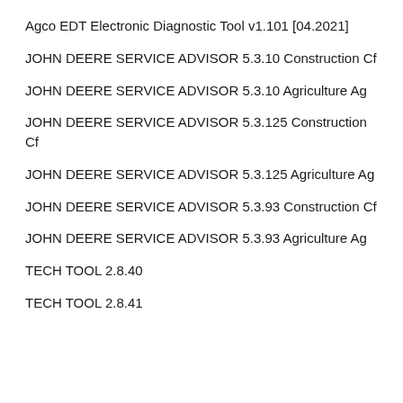Agco EDT Electronic Diagnostic Tool v1.101 [04.2021]
JOHN DEERE SERVICE ADVISOR 5.3.10 Construction Cf
JOHN DEERE SERVICE ADVISOR 5.3.10 Agriculture Ag
JOHN DEERE SERVICE ADVISOR 5.3.125 Construction Cf
JOHN DEERE SERVICE ADVISOR 5.3.125 Agriculture Ag
JOHN DEERE SERVICE ADVISOR 5.3.93 Construction Cf
JOHN DEERE SERVICE ADVISOR 5.3.93 Agriculture Ag
TECH TOOL 2.8.40
TECH TOOL 2.8.41